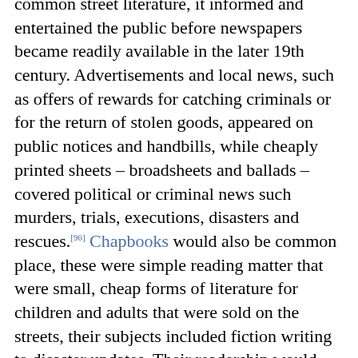common street literature, it informed and entertained the public before newspapers became readily available in the later 19th century. Advertisements and local news, such as offers of rewards for catching criminals or for the return of stolen goods, appeared on public notices and handbills, while cheaply printed sheets – broadsheets and ballads – covered political or criminal news such murders, trials, executions, disasters and rescues.[96] Chapbooks would also be common place, these were simple reading matter that were small, cheap forms of literature for children and adults that were sold on the streets, their subjects included fiction writing to disaster updates. Their readership would have been largely among the poor, and among children of the middle class.[97]

A 2015 study investigated the frequency at which